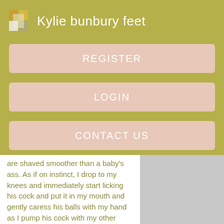Kylie bunbury feet
REGISTER
LOGIN
CONTACT US
are shaved smoother than a baby's ass. As if on instinct, I drop to my knees and immediately start licking his cock and put it in my mouth and gently caress his balls with my hand as I pump his cock with my other hand.
This goes on for about 10 minutes and by now he's just cock fucking